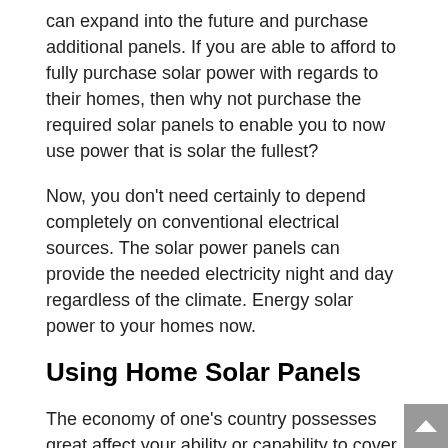can expand into the future and purchase additional panels. If you are able to afford to fully purchase solar power with regards to their homes, then why not purchase the required solar panels to enable you to now use power that is solar the fullest?
Now, you don't need certainly to depend completely on conventional electrical sources. The solar power panels can provide the needed electricity night and day regardless of the climate. Energy solar power to your homes now.
Using Home Solar Panels
The economy of one's country possesses great affect your ability or capability to cover for monthly bills like electricity. Last year, the economic recession has affected many countries and many homeowners had been in a